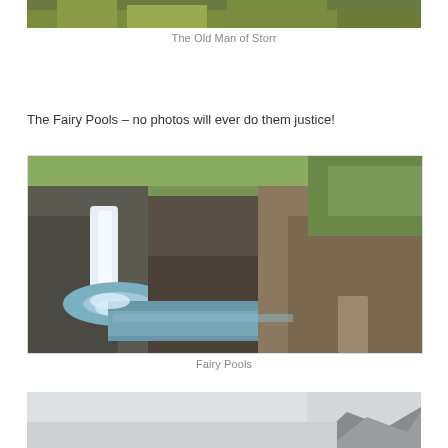[Figure (photo): Partial top of an outdoor landscape photo, showing grass and greenery — likely the Old Man of Storr photo cropped at top]
The Old Man of Storr
The Fairy Pools – no photos will ever do them justice!
[Figure (photo): Panoramic photo of the Fairy Pools waterfall on the Isle of Skye, showing a waterfall cascading into a rocky pool surrounded by green hills and rocky terrain]
Fairy Pools
[Figure (photo): Partial bottom photo showing a hazy mountain landscape, beginning of another image cropped at the bottom of the page]